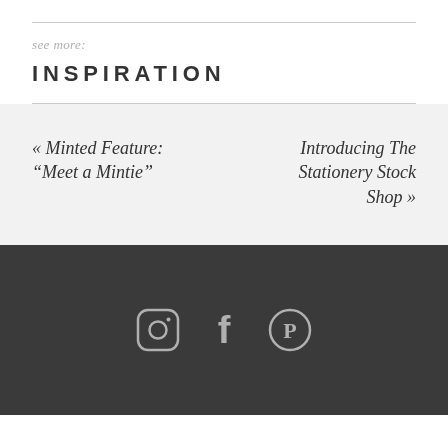see more:
INSPIRATION
« Minted Feature: “Meet a Mintie”
Introducing The Stationery Stock Shop »
[Figure (other): Social media icons: Instagram, Facebook, Pinterest on dark background]